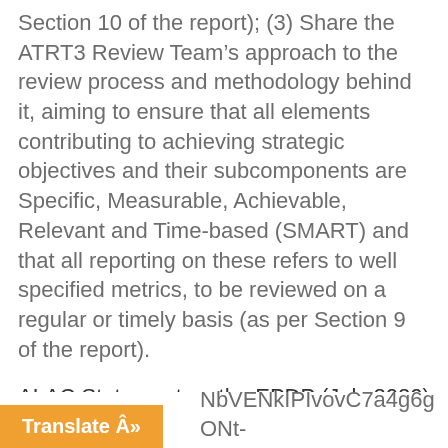Section 10 of the report); (3) Share the ATRT3 Review Team’s approach to the review process and methodology behind it, aiming to ensure that all elements contributing to achieving strategic objectives and their subcomponents are Specific, Measurable, Achievable, Relevant and Time-based (SMART) and that all reporting on these refers to well specified metrics, to be reviewed on a regular or timely basis (as per Section 9 of the report).
ALAC Statement on the EPDP (July 2020)
<r20.rs6.net/tn.jsp?f=001Faw_vcm0ofHSyD2JN0GAJcitYu2eXBevQouJUwz
NbVENkIPIvovC7a4g6gONt-